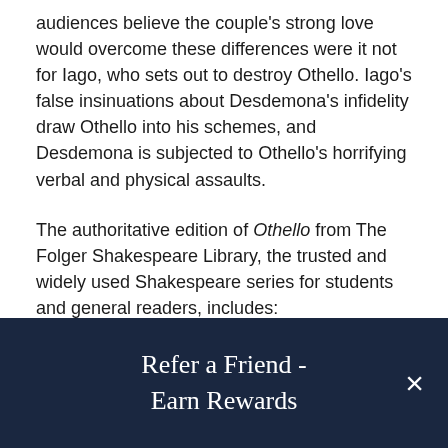audiences believe the couple's strong love would overcome these differences were it not for Iago, who sets out to destroy Othello. Iago's false insinuations about Desdemona's infidelity draw Othello into his schemes, and Desdemona is subjected to Othello's horrifying verbal and physical assaults.
The authoritative edition of Othello from The Folger Shakespeare Library, the trusted and widely used Shakespeare series for students and general readers, includes:
-The exact text of the printed book for easy cross-reference
-Hundreds of hypertext links for instant navigation
-Freshly edited text based on the best early printed
Refer a Friend - Earn Rewards